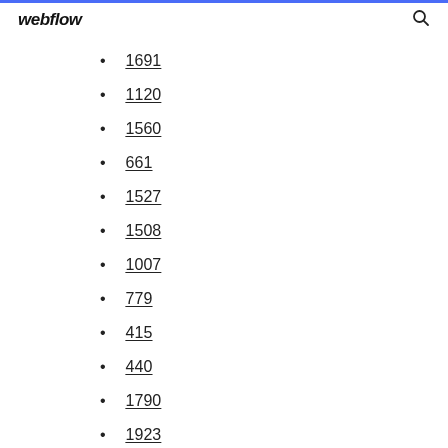webflow
1691
1120
1560
661
1527
1508
1007
779
415
440
1790
1923